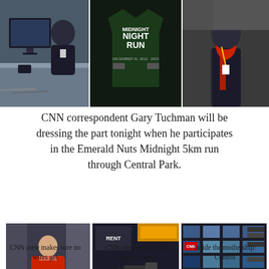[Figure (photo): Three photos at top: left shows person at desk with monitor; center shows Midnight Run event t-shirt/poster; right shows person in red scarf with lanyard badge.]
CNN correspondent Gary Tuchman will be dressing the part tonight when he participates in the Emerald Nuts Midnight 5km run through Central Park.
[Figure (photo): Three photos at bottom: left shows CNN crew member in red jacket managing cables/wires outdoors in Times Square; center shows camera operator working with broadcast camera equipment; right shows control room with wall of monitors.]
CNN crew makes sure no wires get
CNN crew ensures all cameras work
Inside the mothership: Control